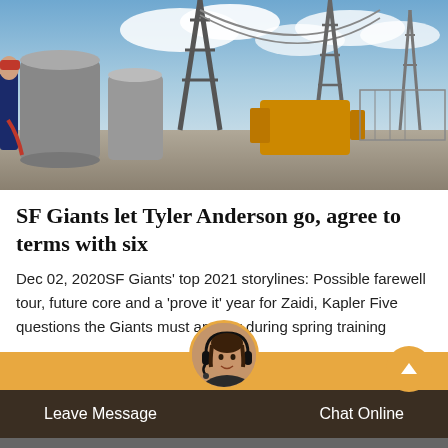[Figure (photo): Outdoor industrial/electrical substation scene with tall transmission towers, large cylindrical equipment, and a person in work clothes on the left side. Blue sky with clouds in background.]
SF Giants let Tyler Anderson go, agree to terms with six
Dec 02, 2020SF Giants’ top 2021 storylines: Possible farewell tour, future core and a ‘prove it’ year for Zaidi, Kapler Five questions the Giants must answer during spring training
[Figure (screenshot): Live chat widget bar with orange strip, agent avatar photo, dark brown bar with 'Leave Message' and 'Chat Online' buttons.]